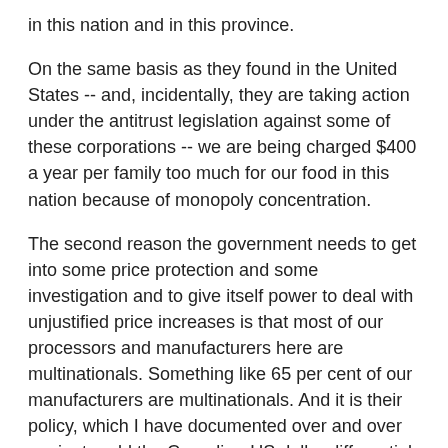in this nation and in this province.
On the same basis as they found in the United States -- and, incidentally, they are taking action under the antitrust legislation against some of these corporations -- we are being charged $400 a year per family too much for our food in this nation because of monopoly concentration.
The second reason the government needs to get into some price protection and some investigation and to give itself power to deal with unjustified price increases is that most of our processors and manufacturers here are multinationals. Something like 65 per cent of our manufacturers are multinationals. And it is their policy, which I have documented over and over again, to add the Canadian-US dollar differential at 17 cents, or whatever it may be, to the Canadian price of their products even though they are totally produced here from Canadian materials.